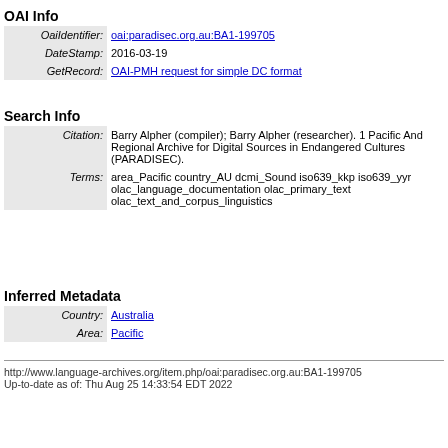OAI Info
| Field | Value |
| --- | --- |
| OaiIdentifier: | oai:paradisec.org.au:BA1-199705 |
| DateStamp: | 2016-03-19 |
| GetRecord: | OAI-PMH request for simple DC format |
Search Info
| Field | Value |
| --- | --- |
| Citation: | Barry Alpher (compiler); Barry Alpher (researcher). 1 Pacific And Regional Archive for Digital Sources in Endangered Cultures (PARADISEC). |
| Terms: | area_Pacific country_AU dcmi_Sound iso639_kkp iso639_yyr olac_language_documentation olac_primary_text olac_text_and_corpus_linguistics |
Inferred Metadata
| Field | Value |
| --- | --- |
| Country: | Australia |
| Area: | Pacific |
http://www.language-archives.org/item.php/oai:paradisec.org.au:BA1-199705
Up-to-date as of: Thu Aug 25 14:33:54 EDT 2022